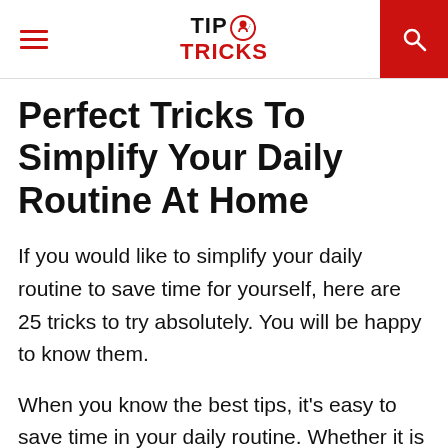TIP TRICKS
Perfect Tricks To Simplify Your Daily Routine At Home
If you would like to simplify your daily routine to save time for yourself, here are 25 tricks to try absolutely. You will be happy to know them.
When you know the best tips, it's easy to save time in your daily routine. Whether it is to speed